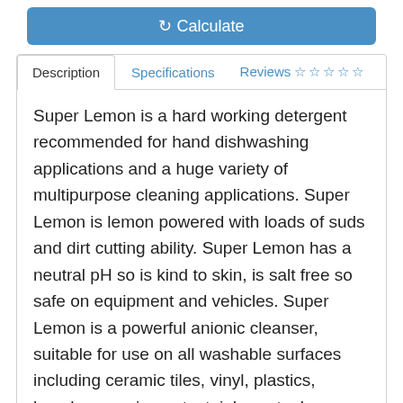[Figure (screenshot): Blue Calculate button with refresh/recalculate icon]
Description | Specifications | Reviews ☆☆☆☆☆
Super Lemon is a hard working detergent recommended for hand dishwashing applications and a huge variety of multipurpose cleaning applications. Super Lemon is lemon powered with loads of suds and dirt cutting ability. Super Lemon has a neutral pH so is kind to skin, is salt free so safe on equipment and vehicles. Super Lemon is a powerful anionic cleanser, suitable for use on all washable surfaces including ceramic tiles, vinyl, plastics, benches, equipment, stainless steel,